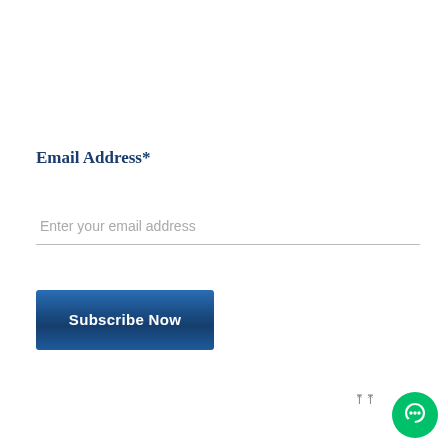Email Address*
Enter your email address
Subscribe Now
[Figure (illustration): Green circular chat/messaging button icon in bottom-right corner with an upward double-chevron arrow nearby]